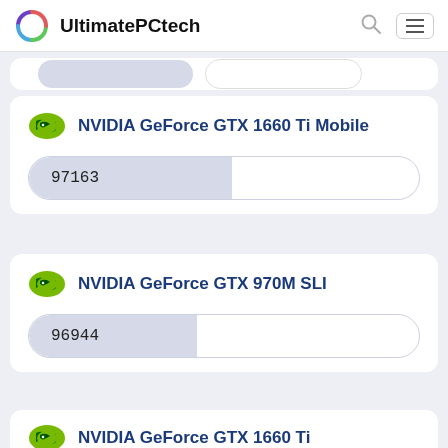UltimatePCtech
NVIDIA GeForce GTX 1660 Ti Mobile — 97163
NVIDIA GeForce GTX 970M SLI — 96944
NVIDIA GeForce GTX 1660 Ti